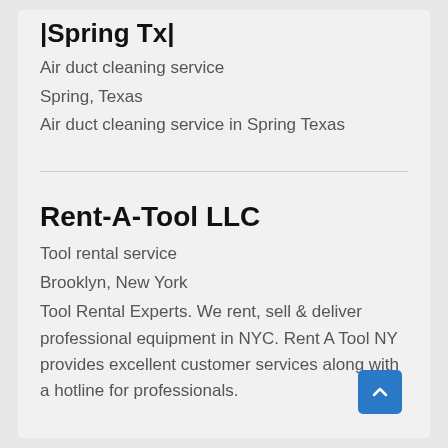|Spring Tx|
Air duct cleaning service
Spring, Texas
Air duct cleaning service in Spring Texas
Rent-A-Tool LLC
Tool rental service
Brooklyn, New York
Tool Rental Experts. We rent, sell & deliver professional equipment in NYC. Rent A Tool NY provides excellent customer services along with a hotline for professionals.